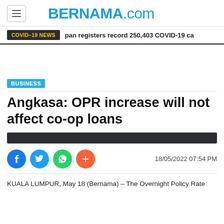BERNAMA.com
COVID-19 NEWS  pan registers record 250,403 COVID-19 ca
BUSINESS
Angkasa: OPR increase will not affect co-op loans
18/05/2022 07:54 PM
KUALA LUMPUR, May 18 (Bernama) – The Overnight Policy Rate